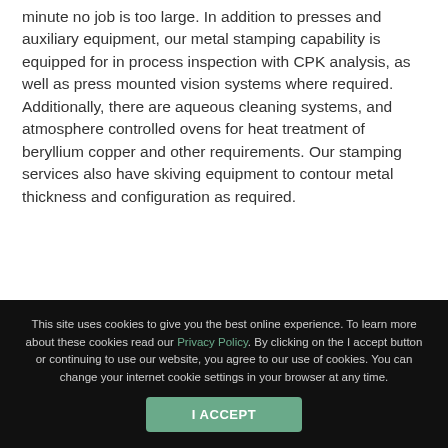minute no job is too large. In addition to presses and auxiliary equipment, our metal stamping capability is equipped for in process inspection with CPK analysis, as well as press mounted vision systems where required. Additionally, there are aqueous cleaning systems, and atmosphere controlled ovens for heat treatment of beryllium copper and other requirements. Our stamping services also have skiving equipment to contour metal thickness and configuration as required.
This site uses cookies to give you the best online experience. To learn more about these cookies read our Privacy Policy. By clicking on the I accept button or continuing to use our website, you agree to our use of cookies. You can change your internet cookie settings in your browser at any time.
I ACCEPT